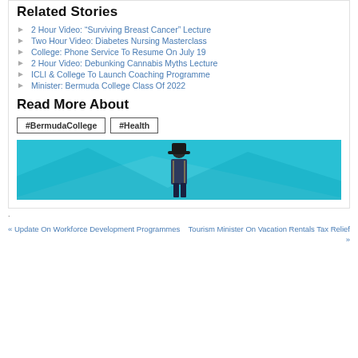Related Stories
2 Hour Video: “Surviving Breast Cancer” Lecture
Two Hour Video: Diabetes Nursing Masterclass
College: Phone Service To Resume On July 19
2 Hour Video: Debunking Cannabis Myths Lecture
ICLI & College To Launch Coaching Programme
Minister: Bermuda College Class Of 2022
Read More About
#BermudaCollege  #Health
[Figure (photo): Banner image with cyan/teal background and a person in historical costume standing in the center]
.
« Update On Workforce Development Programmes
Tourism Minister On Vacation Rentals Tax Relief »